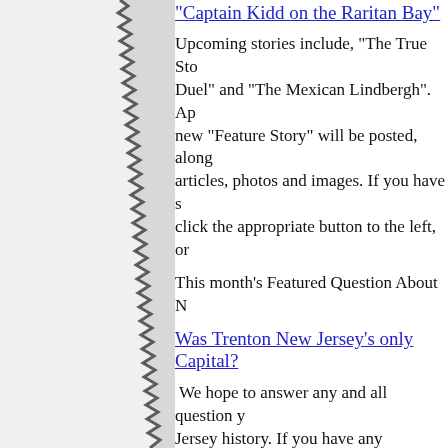"Captain Kidd on the Raritan Bay"
Upcoming stories include, "The True Sto... Duel" and "The Mexican Lindbergh". Ap... new "Feature Story" will be posted, along articles, photos and images. If you have s click the appropriate button to the left, or
This month's Featured Question About N
Was Trenton New Jersey's only Capital?
We hope to answer any and all question y Jersey history. If you have any questions on the appropriate button to the left, or be best to find the answer. Interesting questi month.
In the future, we plan to publish a monthl various contributors. If you have any inte clicking the appropriate button.
To enter the mysterious world of New Jer